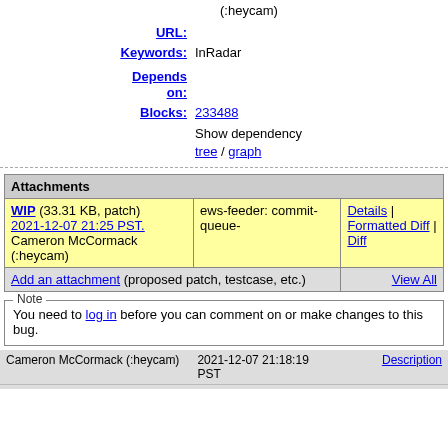(:heycam)
| Field | Value |
| --- | --- |
| URL: |  |
| Keywords: | InRadar |
| Depends on: |  |
| Blocks: | 233488 |
|  | Show dependency tree / graph |
| Attachments |
| --- |
| WIP (33.31 KB, patch) 2021-12-07 21:25 PST. Cameron McCormack (:heycam) | ews-feeder: commit-queue- | Details | Formatted Diff | Diff |
| Add an attachment (proposed patch, testcase, etc.) |  | View All |
Note
You need to log in before you can comment on or make changes to this bug.
Cameron McCormack (:heycam)   2021-12-07 21:18:19 PST   Description